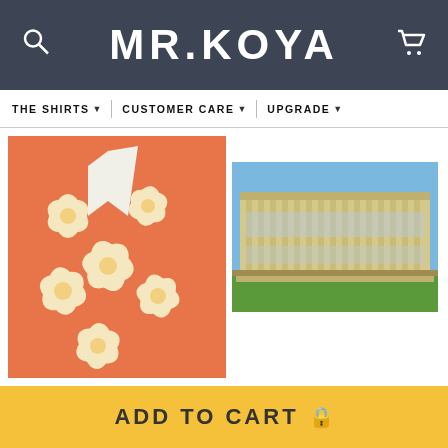MR.KOYA
THE SHIRTS ▾   CUSTOMER CARE ▾   UPGRADE ▾
[Figure (photo): Orange Hawaiian floral short-sleeve shirt]
[Figure (photo): Exterior of a large modern government or institutional building with columns, green lawn, blue sky — appears to be the National Library of Australia in Canberra]
ADD TO CART 🔒